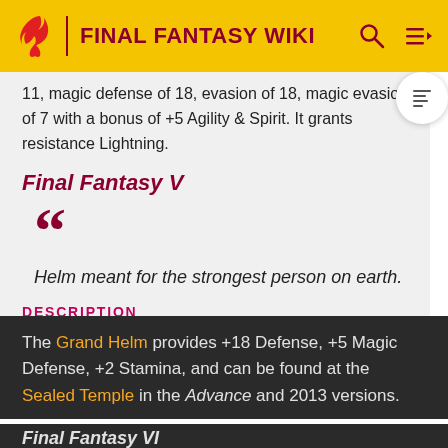FINAL FANTASY WIKI
11, magic defense of 18, evasion of 18, magic evasion of 7 with a bonus of +5 Agility & Spirit. It grants resistance Lightning.
Final Fantasy V
Helm meant for the strongest person on earth.
DESCRIPTION
The Grand Helm provides +18 Defense, +5 Magic Defense, +2 Stamina, and can be found at the Sealed Temple in the Advance and 2013 versions.
Final Fantasy VI